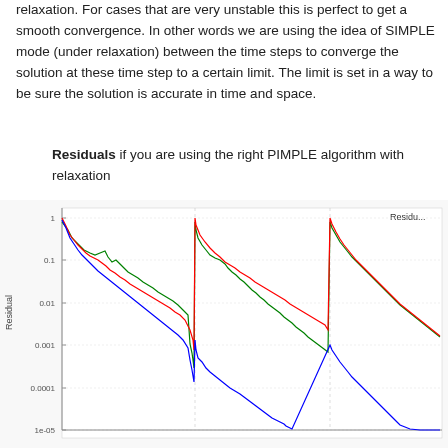relaxation. For cases that are very unstable this is perfect to get a smooth convergence. In other words we are using the idea of SIMPLE mode (under relaxation) between the time steps to converge the solution at these time step to a certain limit. The limit is set in a way to be sure the solution is accurate in time and space.
Residuals if you are using the right PIMPLE algorithm with relaxation
[Figure (continuous-plot): Residuals plot on a logarithmic y-axis showing three curves (red, green, blue) across iterations. The y-axis is labeled 'Residual' and ranges from 1e-05 to 1. The curves show repeating patterns of convergence within time steps, with spikes at the start of each new time step. The x-axis shows iteration count. Top-right label reads 'Residu...' (truncated legend).]